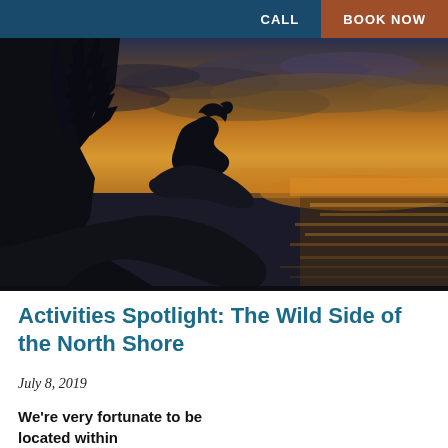CALL  BOOK NOW
[Figure (photo): Silhouette of a dog sitting on rocky cliffs overlooking the ocean at sunset/sunrise, with dramatic orange and golden sky and calm water reflecting the light. Dark forested cliffs on the left.]
Activities Spotlight: The Wild Side of the North Shore
July 8, 2019
We're very fortunate to be located within